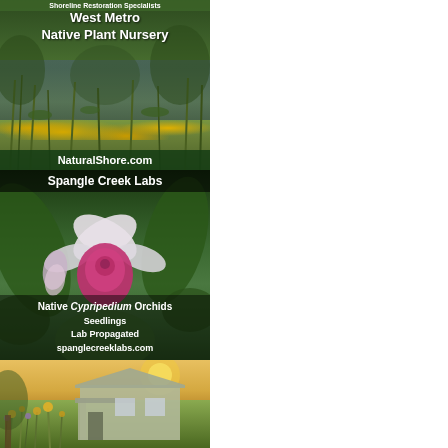[Figure (photo): Advertisement for West Metro Native Plant Nursery / NaturalShore.com. Shows a wetland/shoreline scene with green vegetation, water reflection, and yellow wildflowers. Text overlay reads 'Shoreline Restoration Specialists', 'West Metro Native Plant Nursery', 'NaturalShore.com'.]
[Figure (photo): Advertisement for Spangle Creek Labs. Shows a close-up of a pink and white Cypripedium orchid flower against green foliage. Text reads 'Spangle Creek Labs', 'Native Cypripedium Orchids Seedlings Lab Propagated spanglecreeklabs.com'.]
[Figure (photo): Advertisement showing a house with a prairie/wildflower garden in the foreground at golden hour. Partial image, bottom of page.]